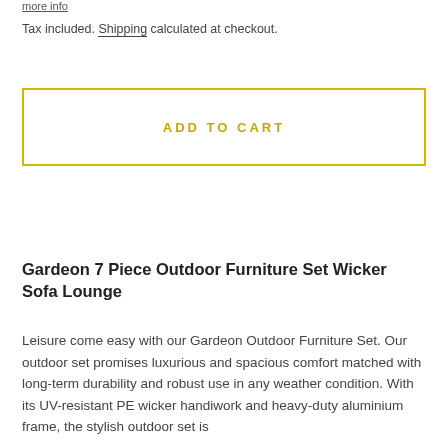more info
Tax included. Shipping calculated at checkout.
ADD TO CART
Gardeon 7 Piece Outdoor Furniture Set Wicker Sofa Lounge
Leisure come easy with our Gardeon Outdoor Furniture Set. Our outdoor set promises luxurious and spacious comfort matched with long-term durability and robust use in any weather condition. With its UV-resistant PE wicker handiwork and heavy-duty aluminium frame, the stylish outdoor set is